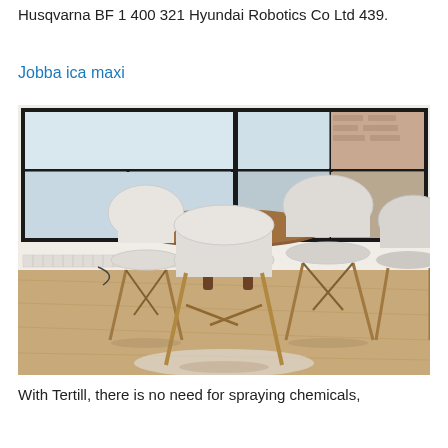Husqvarna BF 1 400 321 Hyundai Robotics Co Ltd 439.
Jobba ica maxi
[Figure (photo): Indoor dining area with a round wooden table and four white Eames-style chairs with wooden legs, set near large black-framed windows. Hardwood floor visible, small rug under the table, baseboard heater along the wall.]
With Tertill, there is no need for spraying chemicals,